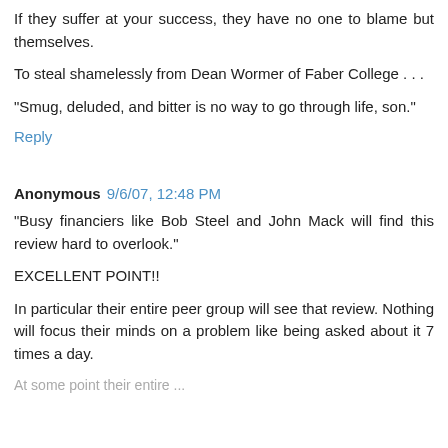If they suffer at your success, they have no one to blame but themselves.
To steal shamelessly from Dean Wormer of Faber College . . .
"Smug, deluded, and bitter is no way to go through life, son."
Reply
Anonymous 9/6/07, 12:48 PM
"Busy financiers like Bob Steel and John Mack will find this review hard to overlook."
EXCELLENT POINT!!
In particular their entire peer group will see that review. Nothing will focus their minds on a problem like being asked about it 7 times a day.
At some point...